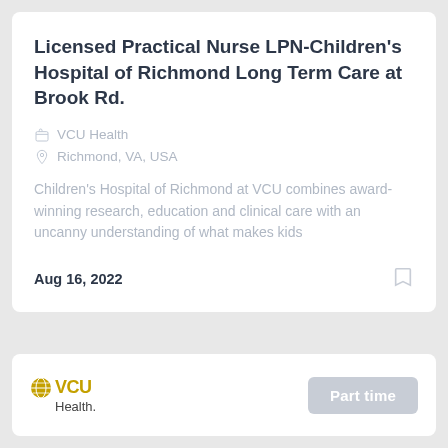Licensed Practical Nurse LPN-Children's Hospital of Richmond Long Term Care at Brook Rd.
VCU Health
Richmond, VA, USA
Children's Hospital of Richmond at VCU combines award-winning research, education and clinical care with an uncanny understanding of what makes kids
Aug 16, 2022
[Figure (logo): VCU Health logo with globe icon]
Part time